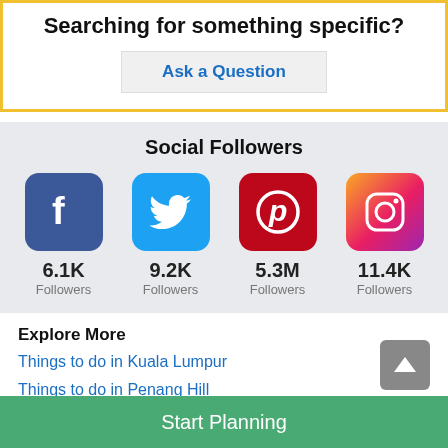Searching for something specific?
Ask a Question
Social Followers
[Figure (infographic): Social media follower counts: Facebook 6.1K, Twitter 9.2K, Pinterest 5.3M, Instagram 11.4K]
Explore More
Things to do in Kuala Lumpur
Things to do in Penang Hill
Things to do in Ipoh
Start Planning